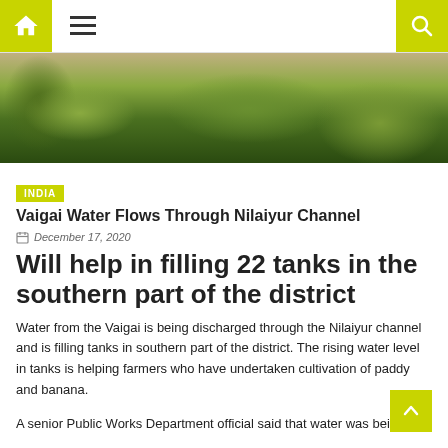Navigation bar with home, menu, and search icons
[Figure (photo): Aerial view of green fields and trees, landscape photo]
INDIA
Vaigai Water Flows Through Nilaiyur Channel
December 17, 2020
Will help in filling 22 tanks in the southern part of the district
Water from the Vaigai is being discharged through the Nilaiyur channel and is filling tanks in southern part of the district. The rising water level in tanks is helping farmers who have undertaken cultivation of paddy and banana.
A senior Public Works Department official said that water was being